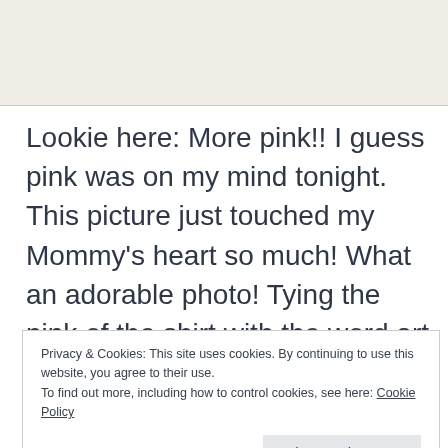[Figure (photo): Top portion of a scrapbook or blog page with a light beige/off-white background, partially visible.]
Lookie here: More pink!! I guess pink was on my mind tonight. This picture just touched my Mommy's heart so much! What an adorable photo! Tying the pink of the shirt with the word art and the butterfly and flair is a perfect touch to tie in all the elements of the page. The shape of the picture
Privacy & Cookies: This site uses cookies. By continuing to use this website, you agree to their use.
To find out more, including how to control cookies, see here: Cookie Policy
Close and accept